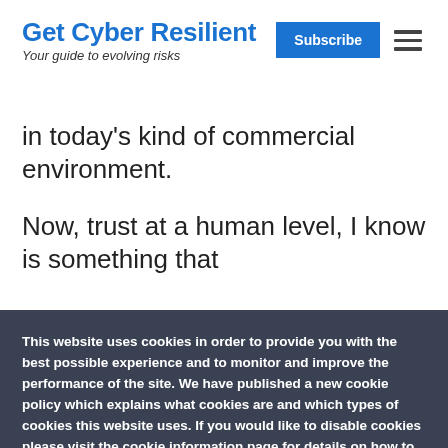Get Cyber Resilient — Your guide to evolving risks
in today's kind of commercial environment.
Now, trust at a human level, I know is something that
This website uses cookies in order to provide you with the best possible experience and to monitor and improve the performance of the site. We have published a new cookie policy which explains what cookies are and which types of cookies this website uses. If you would like to disable cookies please visit the cookie information page for details on how to do so. By continuing to use this site, you are agreeing to the use of cookies, unless you have disabled them. Privacy Statement
Accept